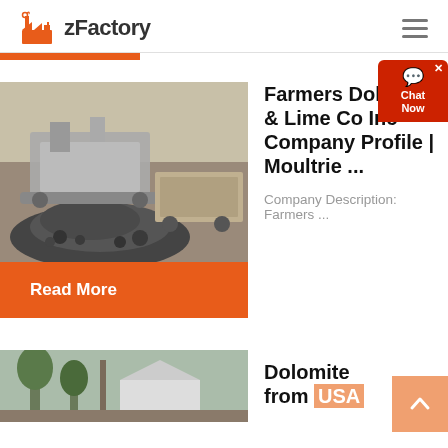zFactory
Farmers Dolomite & Lime Co Inc Company Profile | Moultrie ...
[Figure (photo): Industrial stone crushing equipment with a pile of crushed rocks on a dirt construction site]
Company Description: Farmers ...
Read More
Dolomite from USA